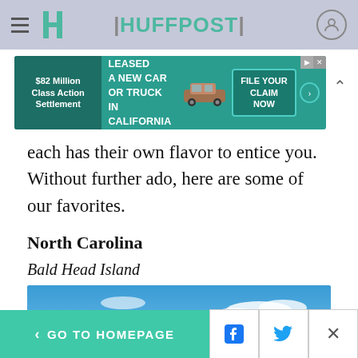HUFFPOST
[Figure (screenshot): Advertisement banner: $82 Million Class Action Settlement - IF YOU BOUGHT OR LEASED A NEW CAR OR TRUCK IN CALIFORNIA FROM 2001 - 2003 - FILE YOUR CLAIM NOW]
each has their own flavor to entice you. Without further ado, here are some of our favorites.
North Carolina
Bald Head Island
[Figure (photo): Coastal beach scene at Bald Head Island, North Carolina, with tall sea grasses in the foreground, a white beach house on the left, blue ocean water and bright blue sky with scattered clouds.]
< GO TO HOMEPAGE